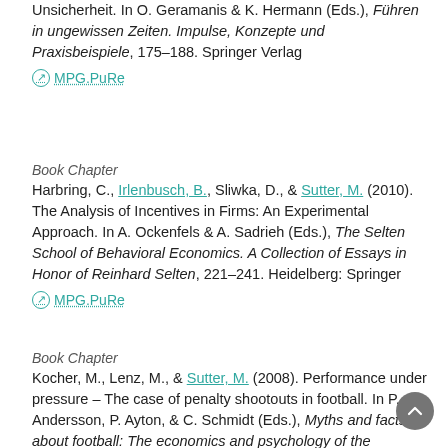Unsicherheit. In O. Geramanis & K. Hermann (Eds.), Führen in ungewissen Zeiten. Impulse, Konzepte und Praxisbeispiele, 175–188. Springer Verlag
⊙ MPG.PuRe
Book Chapter
Harbring, C., Irlenbusch, B., Sliwka, D., & Sutter, M. (2010). The Analysis of Incentives in Firms: An Experimental Approach. In A. Ockenfels & A. Sadrieh (Eds.), The Selten School of Behavioral Economics. A Collection of Essays in Honor of Reinhard Selten, 221–241. Heidelberg: Springer
⊙ MPG.PuRe
Book Chapter
Kocher, M., Lenz, M., & Sutter, M. (2008). Performance under pressure – The case of penalty shootouts in football. In P. Andersson, P. Ayton, & C. Schmidt (Eds.), Myths and facts about football: The economics and psychology of the